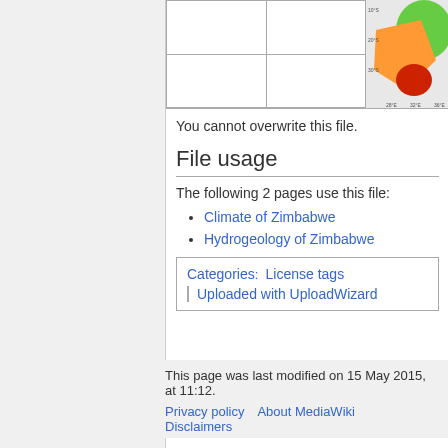|  |  |
|  |  |
[Figure (map): Partial view of a climate or hydrogeology map of Zimbabwe showing colored regions in green, orange, red.]
You cannot overwrite this file.
File usage
The following 2 pages use this file:
Climate of Zimbabwe
Hydrogeology of Zimbabwe
Categories:  License tags | Uploaded with UploadWizard
This page was last modified on 15 May 2015, at 11:12.
Privacy policy   About MediaWiki   Disclaimers